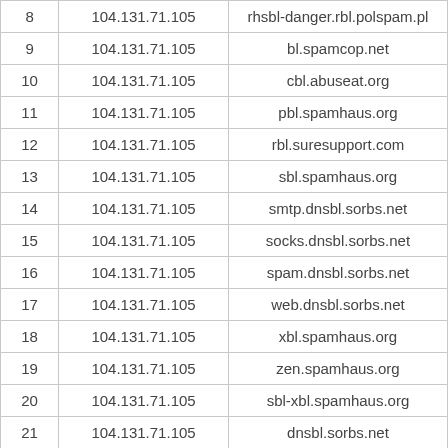|  |  |  |
| --- | --- | --- |
| 8 | 104.131.71.105 | rhsbl-danger.rbl.polspam.pl |
| 9 | 104.131.71.105 | bl.spamcop.net |
| 10 | 104.131.71.105 | cbl.abuseat.org |
| 11 | 104.131.71.105 | pbl.spamhaus.org |
| 12 | 104.131.71.105 | rbl.suresupport.com |
| 13 | 104.131.71.105 | sbl.spamhaus.org |
| 14 | 104.131.71.105 | smtp.dnsbl.sorbs.net |
| 15 | 104.131.71.105 | socks.dnsbl.sorbs.net |
| 16 | 104.131.71.105 | spam.dnsbl.sorbs.net |
| 17 | 104.131.71.105 | web.dnsbl.sorbs.net |
| 18 | 104.131.71.105 | xbl.spamhaus.org |
| 19 | 104.131.71.105 | zen.spamhaus.org |
| 20 | 104.131.71.105 | sbl-xbl.spamhaus.org |
| 21 | 104.131.71.105 | dnsbl.sorbs.net |
| 22 | 104.131.71.105 | http.dnsbl.sorbs.net |
| 23 | 104.131.71.105 | dul.dnsbl.sorbs.net |
| 24 | 104.131.71.105 | misc.dnsbl.sorbs.net |